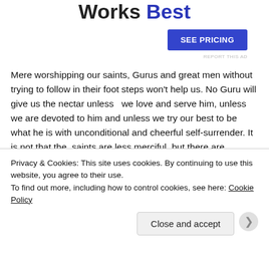Works Best
SEE PRICING
REPORT THIS AD
Mere worshipping our saints, Gurus and great men without trying to follow in their foot steps won't help us. No Guru will give us the nectar unless   we love and serve him, unless we are devoted to him and unless we try our best to be what he is with unconditional and cheerful self-surrender. It is not that the  saints are less merciful, but there are limitations beyond which the eternal Divine Law  does not permit the result to accrue. One unit can be
Privacy & Cookies: This site uses cookies. By continuing to use this website, you agree to their use.
To find out more, including how to control cookies, see here: Cookie Policy
Close and accept